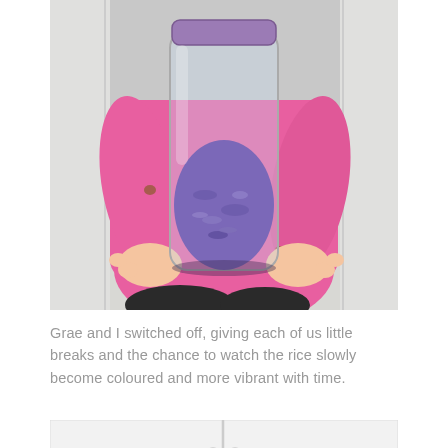[Figure (photo): A young child in a pink long-sleeve shirt holding up a large glass jar filled with purple/violet colored rice, sitting on a tiled floor in front of white cabinetry.]
Grae and I switched off, giving each of us little breaks and the chance to watch the rice slowly become coloured and more vibrant with time.
[Figure (photo): Partial view of white cabinet doors with round knobs, visible at the bottom of the page.]